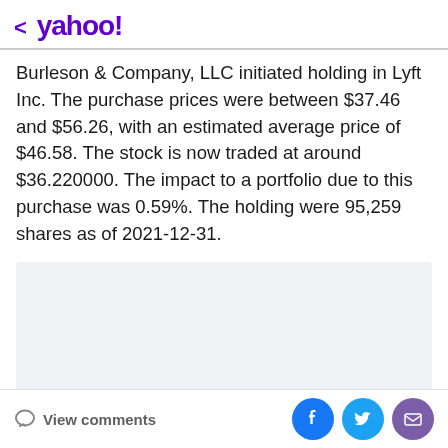< yahoo!
Burleson & Company, LLC initiated holding in Lyft Inc. The purchase prices were between $37.46 and $56.26, with an estimated average price of $46.58. The stock is now traded at around $36.220000. The impact to a portfolio due to this purchase was 0.59%. The holding were 95,259 shares as of 2021-12-31.
[Figure (other): Advertisement placeholder box with light gray background]
View comments  [Facebook] [Twitter] [Mail]